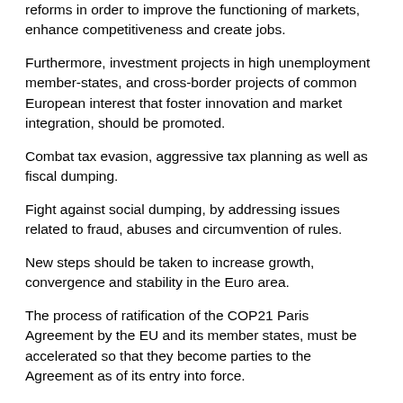reforms in order to improve the functioning of markets, enhance competitiveness and create jobs.
Furthermore, investment projects in high unemployment member-states, and cross-border projects of common European interest that foster innovation and market integration, should be promoted.
Combat tax evasion, aggressive tax planning as well as fiscal dumping.
Fight against social dumping, by addressing issues related to fraud, abuses and circumvention of rules.
New steps should be taken to increase growth, convergence and stability in the Euro area.
The process of ratification of the COP21 Paris Agreement by the EU and its member states, must be accelerated so that they become parties to the Agreement as of its entry into force.
Strengthening programmes for youth
We need more ambitious initiatives at European level to facilitate mobility as well as access to training and jobs for young people. Europe should in particular extend and amplify the Youth